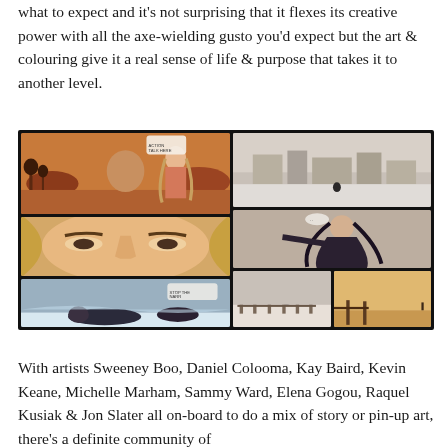what to expect and it's not surprising that it flexes its creative power with all the axe-wielding gusto you'd expect but the art & colouring give it a real sense of life & purpose that takes it to another level.
[Figure (illustration): Comic book panel grid showing multiple scenes: left column has three panels (top: two figures in warm desert/town setting, middle: close-up of character face with long hair, bottom: dark scene with figures in snow/water); right column has three panels (top: grey sepia landscape with structures, middle: action scene with figure in dark clothing, bottom-left: pale landscape with fence posts, bottom-right: warm sunset scene with fence and distant figure).]
With artists Sweeney Boo, Daniel Colooma, Kay Baird, Kevin Keane, Michelle Marham, Sammy Ward, Elena Gogou, Raquel Kusiak & Jon Slater all on-board to do a mix of story or pin-up art, there's a definite community of